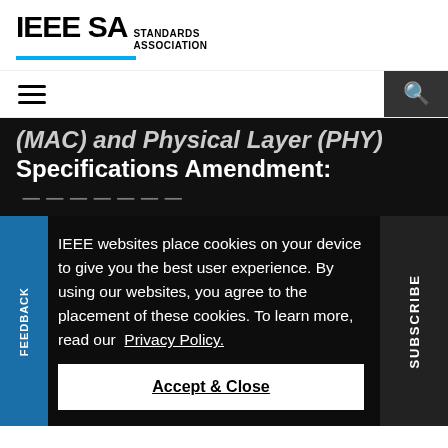IEEE SA STANDARDS ASSOCIATION
(MAC) and Physical Layer (PHY) Specifications Amendment:
IEEE websites place cookies on your device to give you the best user experience. By using our websites, you agree to the placement of these cookies. To learn more, read our Privacy Policy.
Accept & Close